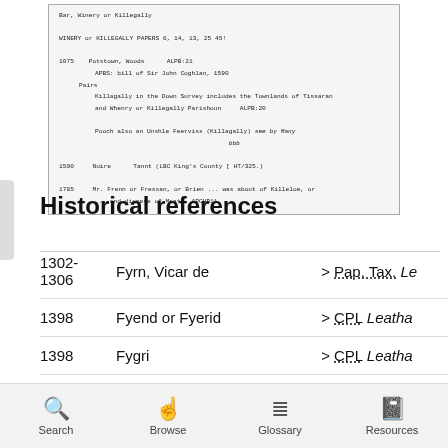[Figure (screenshot): Scanned historical document showing references to 'Killegally' or similar placename, with entries from 1075 and 1500 and 1785, including references to APBS, down survey, King's County, and other historical sources.]
Historical references
| Year | Name |  | Source |
| --- | --- | --- | --- |
| 1302-1306 | Fyrn, Vicar de | > | Pap. Tax. Le |
| 1398 | Fyend or Fyerid | > | CPL Leatha |
| 1398 | Fygri | > | CPL Leatha |
| 1410 | Fayqri | > | CPL Leatha |
Search   Browse   Glossary   Resources